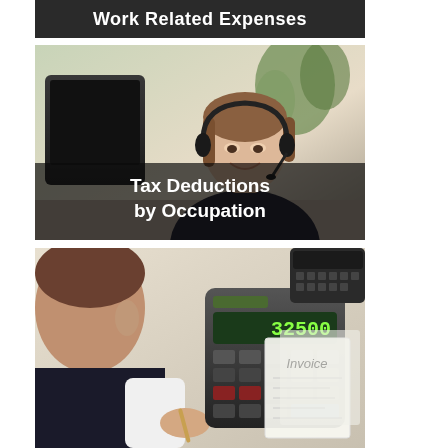Work Related Expenses
[Figure (photo): Woman with headset smiling at camera, sitting at a desk with a computer monitor. Text overlay reads 'Tax Deductions by Occupation']
[Figure (photo): Man using a desktop calculator showing 32500, with an Invoice document visible in the background]